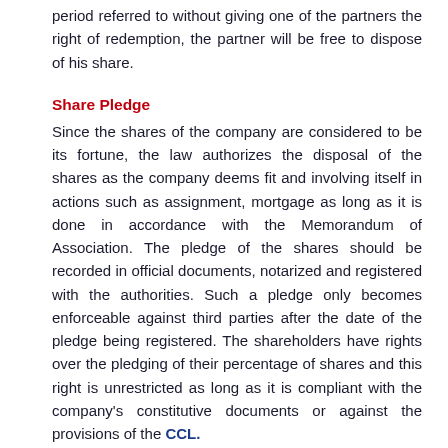period referred to without giving one of the partners the right of redemption, the partner will be free to dispose of his share.
Share Pledge
Since the shares of the company are considered to be its fortune, the law authorizes the disposal of the shares as the company deems fit and involving itself in actions such as assignment, mortgage as long as it is done in accordance with the Memorandum of Association. The pledge of the shares should be recorded in official documents, notarized and registered with the authorities. Such a pledge only becomes enforceable against third parties after the date of the pledge being registered. The shareholders have rights over the pledging of their percentage of shares and this right is unrestricted as long as it is compliant with the company's constitutive documents or against the provisions of the CCL.
The new Law allows the creation a pledge over the shares of a Limited Liability Company and also allows for the pledge to be registered in the Commercial Register. This will facilitate a company to avail better financing options such as